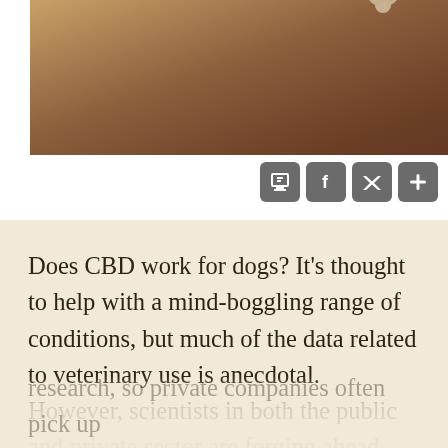[Figure (photo): Cannabis/hemp leaves and flowers arranged on a wooden surface, viewed from above]
[Figure (infographic): Social media sharing buttons: print, Facebook, Twitter, and plus/add icon]
Does CBD work for dogs? It’s thought to help with a mind-boggling range of conditions, but much of the data related to veterinary use is anecdotal. However, scientists in both the public and private sector are forging ahead with research they hope will provide some answers. (FYI: Conflicting federal and state laws can make it tricky for universities to do CBD-related research, so private companies often pick up the slack.)